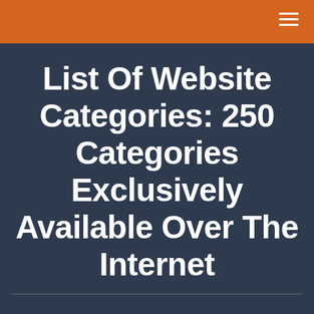List Of Website Categories: 250 Categories Exclusively Available Over The Internet